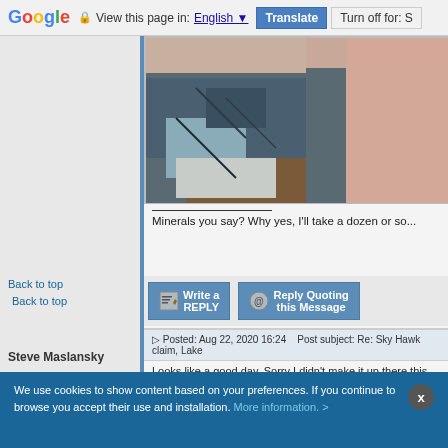Google   View this page in: English [▼]   Translate   Turn off for: S
[Figure (photo): Close-up photo of a mineral specimen being held, showing dark blue-grey and brown rocky textures with a finger/skin visible at top and right edges]
Minerals you say? Why yes, I'll take a dozen or so...
Back to top
Write a REPLY   Reply Quoting this Message
Posted: Aug 22, 2020 16:24   Post subject: Re: Sky Hawk claim, Lake
Steve Maslansky
Looks like a good day. Sorry I didn't make it up there this
Joined: 01 Mar 2013
Posts: 18
We use cookies to show content based on your preferences. If you continue to browse you accept their use and installation. More information. >